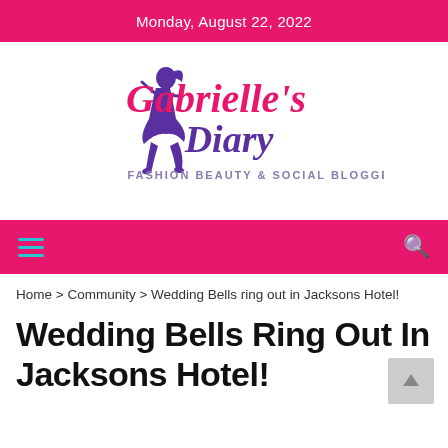Monday, August 22, 2022
[Figure (logo): Gabrielle's Diary logo — woman silhouette in purple dress, cursive pink and purple text 'Gabrielle's Diary', subtitle 'FASHION BEAUTY & SOCIAL BLOGGER']
Navigation bar with hamburger menu and search icon
Home > Community > Wedding Bells ring out in Jacksons Hotel!
Wedding Bells Ring Out In Jacksons Hotel!